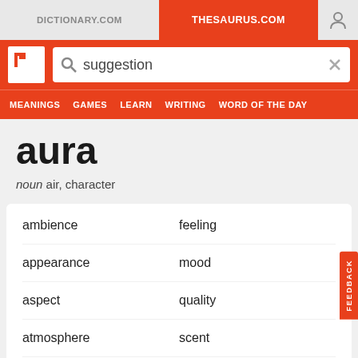DICTIONARY.COM | THESAURUS.COM
[Figure (screenshot): Thesaurus.com website header with search bar showing 'suggestion', navigation tabs, and logo]
aura
noun air, character
ambience
feeling
appearance
mood
aspect
quality
atmosphere
scent
background
semblance